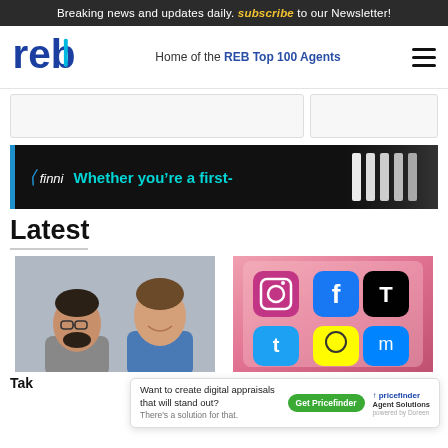Breaking news and updates daily. Subscribe to our Newsletter!
[Figure (logo): REB logo with blue letters]
Home of the REB Top 100 Agents
[Figure (screenshot): Two ad placeholder boxes]
[Figure (infographic): Finni ad banner - Whether you're a first-]
Latest
[Figure (photo): Two men in suits smiling - article photo]
[Figure (photo): Social media app icons on a phone screen]
Tak
unces
[Figure (infographic): Pricefinder ad popup - Want to create digital appraisals that will stand out? Get Pricefinder. Agent Solutions.]